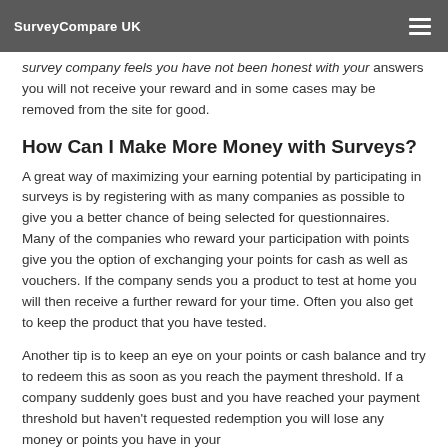SurveyCompare UK
survey company feels you have not been honest with your answers you will not receive your reward and in some cases may be removed from the site for good.
How Can I Make More Money with Surveys?
A great way of maximizing your earning potential by participating in surveys is by registering with as many companies as possible to give you a better chance of being selected for questionnaires. Many of the companies who reward your participation with points give you the option of exchanging your points for cash as well as vouchers. If the company sends you a product to test at home you will then receive a further reward for your time. Often you also get to keep the product that you have tested.
Another tip is to keep an eye on your points or cash balance and try to redeem this as soon as you reach the payment threshold. If a company suddenly goes bust and you have reached your payment threshold but haven't requested redemption you will lose any money or points you have in your